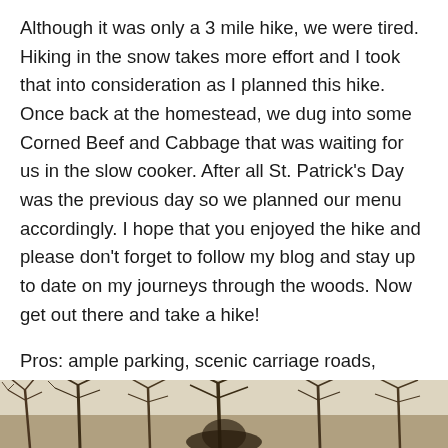Although it was only a 3 mile hike, we were tired. Hiking in the snow takes more effort and I took that into consideration as I planned this hike. Once back at the homestead, we dug into some Corned Beef and Cabbage that was waiting for us in the slow cooker. After all St. Patrick's Day was the previous day so we planned our menu accordingly. I hope that you enjoyed the hike and please don't forget to follow my blog and stay up to date on my journeys through the woods. Now get out there and take a hike!
Pros: ample parking, scenic carriage roads, historical feature, partially obstructed views, wildlife
Cons: partially obstructed views
[Figure (photo): A winter woodland scene showing bare tree branches against a light sky, with a dark silhouette visible at the bottom center of the image.]